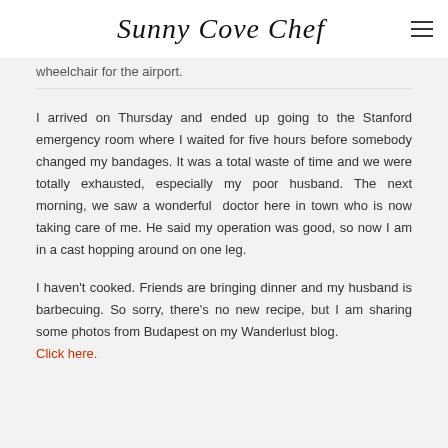Sunny Cove Chef
wheelchair for the airport.
I arrived on Thursday and ended up going to the Stanford emergency room where I waited for five hours before somebody changed my bandages. It was a total waste of time and we were totally exhausted, especially my poor husband. The next morning, we saw a wonderful doctor here in town who is now taking care of me. He said my operation was good, so now I am in a cast hopping around on one leg.
I haven't cooked. Friends are bringing dinner and my husband is barbecuing. So sorry, there's no new recipe, but I am sharing some photos from Budapest on my Wanderlust blog.
Click here.